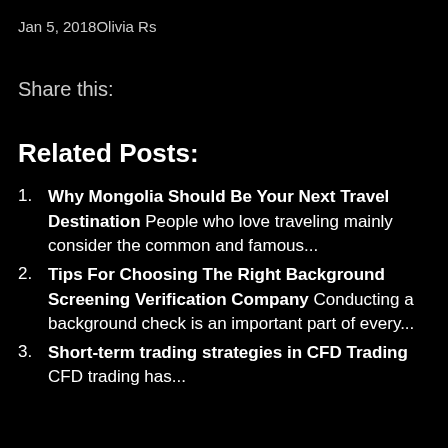Jan 5, 2018Olivia Rs
Share this:
Related Posts:
Why Mongolia Should Be Your Next Travel Destination People who love traveling mainly consider the common and famous...
Tips For Choosing The Right Background Screening Verification Company Conducting a background check is an important part of every...
Short-term trading strategies in CFD Trading CFD trading has…